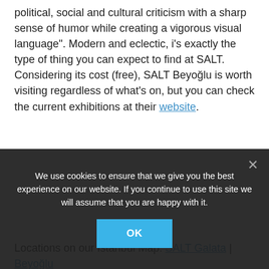political, social and cultural criticism with a sharp sense of humor while creating a vigorous visual language". Modern and eclectic, i's exactly the type of thing you can expect to find at SALT. Considering its cost (free), SALT Beyoğlu is worth visiting regardless of what's on, but you can check the current exhibitions at their website.
Locations on our Istanbul Map: SALT Galata | Beyoğlu
–Find Us On Facebook
[Figure (photo): Dark interior photograph showing what appears to be a library or bookshelf lined room]
We use cookies to ensure that we give you the best experience on our website. If you continue to use this site we will assume that you are happy with it.